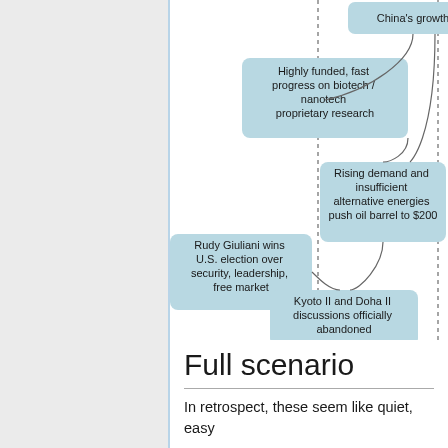[Figure (flowchart): A partial flowchart showing scenario nodes connected by curved lines with a vertical dotted timeline. Nodes include: China's growth (top right), Highly funded fast progress on biotech / nanotech proprietary research (center), Rising demand and insufficient alternative energies push oil barrel to $200 (right), Rudy Giuliani wins U.S. election over security, leadership, free market (left), Kyoto II and Doha II discussions officially abandoned (center), More and more frequent aberrant climate events (center bottom), and a partially visible node at bottom right.]
Full scenario
In retrospect, these seem like quiet, easy